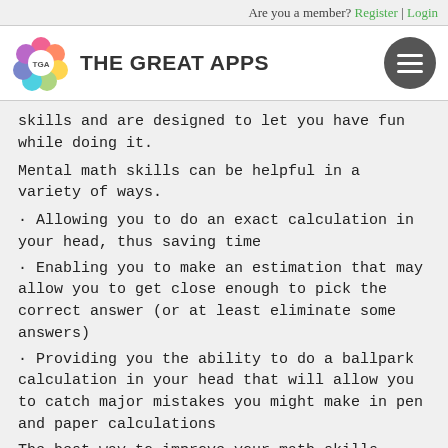Are you a member? Register | Login
[Figure (logo): The Great Apps logo with colorful flower icon and bold text]
skills and are designed to let you have fun while doing it.
Mental math skills can be helpful in a variety of ways.
· Allowing you to do an exact calculation in your head, thus saving time
· Enabling you to make an estimation that may allow you to get close enough to pick the correct answer (or at least eliminate some answers)
· Providing you the ability to do a ballpark calculation in your head that will allow you to catch major mistakes you might make in pen and paper calculations
The best way to improve your math skills...